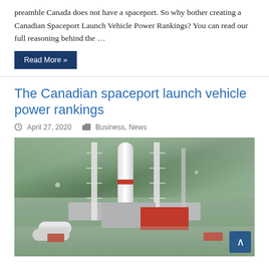preamble Canada does not have a spaceport. So why bother creating a Canadian Spaceport Launch Vehicle Power Rankings? You can read our full reasoning behind the …
Read More »
The Canadian spaceport launch vehicle power rankings
April 27, 2020   Business, News
[Figure (photo): 3D rendering of a Canadian spaceport with a rocket on a launch pad, surrounded by launch towers, service buildings, and ground vehicles]